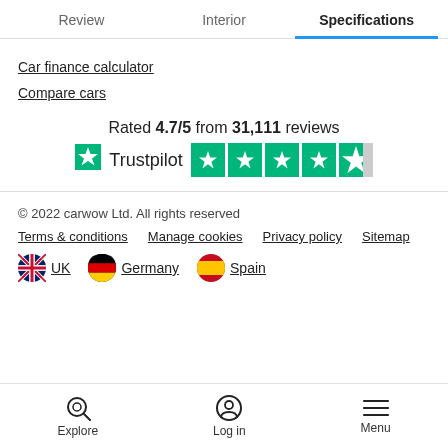Review | Interior | Specifications
Car finance calculator
Compare cars
Rated 4.7/5 from 31,111 reviews — Trustpilot (4.7 stars)
© 2022 carwow Ltd. All rights reserved
Terms & conditions | Manage cookies | Privacy policy | Sitemap
UK | Germany | Spain
Explore | Log in | Menu